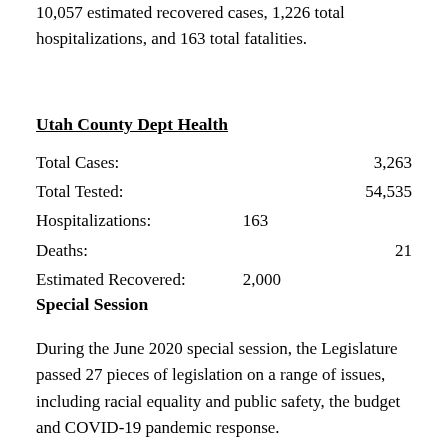10,057 estimated recovered cases, 1,226 total hospitalizations, and 163 total fatalities.
Utah County Dept Health
|  |  |  |
| --- | --- | --- |
| Total Cases: |  | 3,263 |
| Total Tested: |  | 54,535 |
| Hospitalizations: | 163 |  |
| Deaths: |  | 21 |
| Estimated Recovered: | 2,000 |  |
Special Session
During the June 2020 special session, the Legislature passed 27 pieces of legislation on a range of issues, including racial equality and public safety, the budget and COVID-19 pandemic response.